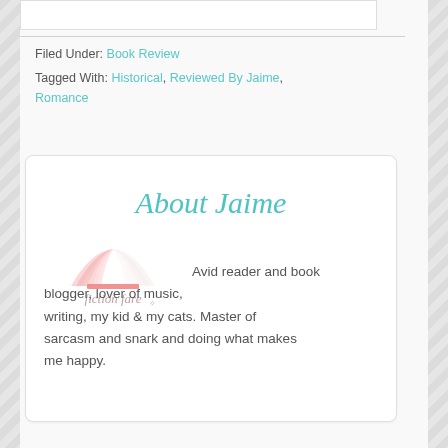Filed Under: Book Review
Tagged With: Historical, Reviewed By Jaime, Romance
[Figure (illustration): Fiction Fare blog logo: open book with pink and white pages, script text 'fiction fare' below]
About Jaime
Avid reader and book blogger, lover of music, writing, my kid & my cats. Master of sarcasm and snark and doing what makes me happy.